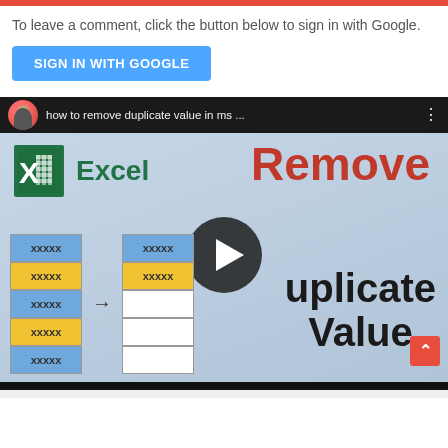To leave a comment, click the button below to sign in with Google.
[Figure (screenshot): Blue 'SIGN IN WITH GOOGLE' button]
[Figure (screenshot): YouTube-style video thumbnail showing 'how to remove duplicate value in ms ...' with Excel logo, Remove Duplicate Value text overlay, spreadsheet cells demo with xxxxx placeholders, and a play button in the center.]